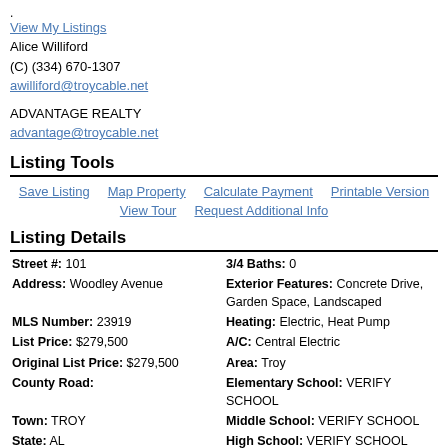.
View My Listings
Alice Williford
(C) (334) 670-1307
awilliford@troycable.net
ADVANTAGE REALTY
advantage@troycable.net
Listing Tools
Save Listing
Map Property
Calculate Payment
Printable Version
View Tour
Request Additional Info
Listing Details
| Street #: 101 | 3/4 Baths: 0 |
| Address: Woodley Avenue | Exterior Features: Concrete Drive, Garden Space, Landscaped |
| MLS Number: 23919 | Heating: Electric, Heat Pump |
| List Price: $279,500 | A/C: Central Electric |
| Original List Price: $279,500 | Area: Troy |
| County Road: | Elementary School: VERIFY SCHOOL |
| Town: TROY | Middle School: VERIFY SCHOOL |
| State: AL | High School: VERIFY SCHOOL |
| Zip Code: 36081 | Apx Ttl Acreage +/-: 0 |
| Lot Size: 205' x 150' |  |
| Apx Ttl SqFt +/-: 2963 |  |